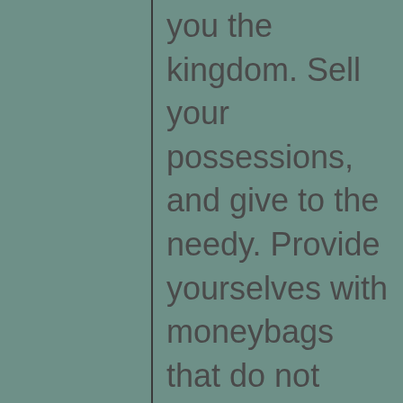you the kingdom. Sell your possessions, and give to the needy. Provide yourselves with moneybags that do not grow old, with a treasure in the heavens that